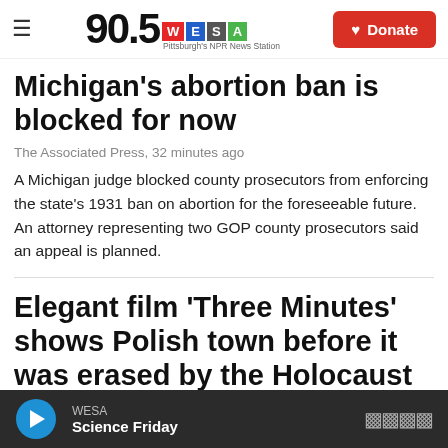90.5 WESA — Pittsburgh's NPR News Station — Donate
Michigan's abortion ban is blocked for now
The Associated Press, 32 minutes ago
A Michigan judge blocked county prosecutors from enforcing the state's 1931 ban on abortion for the foreseeable future. An attorney representing two GOP county prosecutors said an appeal is planned.
Elegant film 'Three Minutes' shows Polish town before it was erased by the Holocaust
WESA — Science Friday